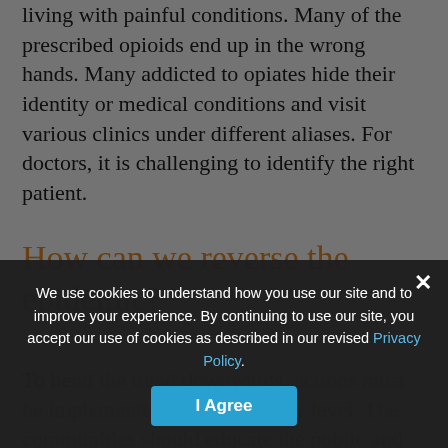living with painful conditions. Many of the prescribed opioids end up in the wrong hands. Many addicted to opiates hide their identity or medical conditions and visit various clinics under different aliases. For doctors, it is challenging to identify the right patient.
How can we reverse the epidemic?
To bend the trend downwards, actions must be implemented at a community level. The communities should educate the public and raise awareness about the health risks of opioid abuse. Policymakers should advance legislation to address the problem. Above all, there is a need to
We use cookies to understand how you use our site and to improve your experience. By continuing to use our site, you accept our use of cookies as described in our revised Privacy Policy.